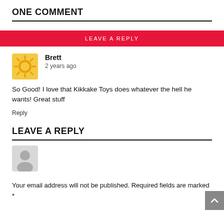ONE COMMENT
LEAVE A REPLY
Brett
2 years ago
So Good! I love that Kikkake Toys does whatever the hell he wants! Great stuff
Reply
LEAVE A REPLY
Your email address will not be published. Required fields are marked *